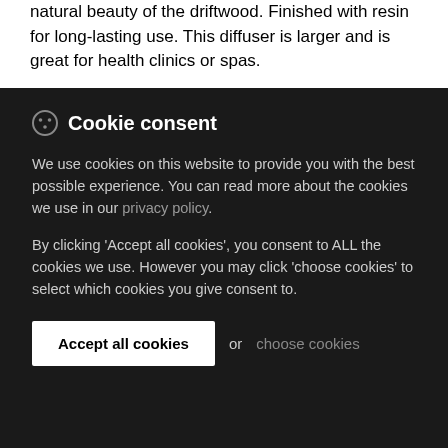natural beauty of the driftwood. Finished with resin for long-lasting use. This diffuser is larger and is great for health clinics or spas.
Cookie consent
We use cookies on this website to provide you with the best possible experience. You can read more about the cookies we use in our privacy policy.
By clicking 'Accept all cookies', you consent to ALL the cookies we use. However you may click 'choose cookies' to select which cookies you give consent to.
Accept all cookies  or  choose cookies